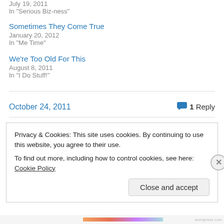July 19, 2011
In "Serious Biz-ness"
Sometimes They Come True
January 20, 2012
In "Me Time"
We're Too Old For This
August 8, 2011
In "I Do Stuff!"
October 24, 2011
1 Reply
Privacy & Cookies: This site uses cookies. By continuing to use this website, you agree to their use.
To find out more, including how to control cookies, see here: Cookie Policy
Close and accept